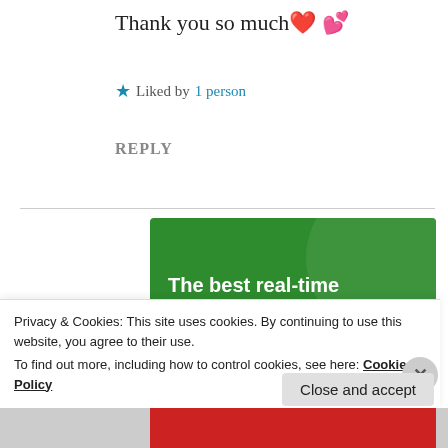Thank you so much ❤️ 💕
★ Liked by 1 person
REPLY
[Figure (infographic): Green advertisement banner for 'The best real-time WordPress backup plugin' with a 'Back up your site' button]
Privacy & Cookies: This site uses cookies. By continuing to use this website, you agree to their use. To find out more, including how to control cookies, see here: Cookie Policy
Close and accept